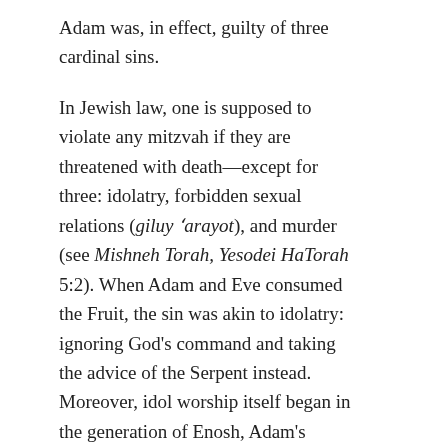Adam was, in effect, guilty of three cardinal sins.
In Jewish law, one is supposed to violate any mitzvah if they are threatened with death—except for three: idolatry, forbidden sexual relations (giluy 'arayot), and murder (see Mishneh Torah, Yesodei HaTorah 5:2). When Adam and Eve consumed the Fruit, the sin was akin to idolatry: ignoring God's command and taking the advice of the Serpent instead. Moreover, idol worship itself began in the generation of Enosh, Adam's grandson (Genesis 4:26). Adam was alive and well at the time, and should have prevented this development. For these reasons, it is considered that Adam transgressed the sin of idolatry.
Continue reading →
This entry was posted in Kabbalah & Mysticism, Mashiach & End of Days and tagged 130, Abraham, Adam and Eve, Akedah, Bathsheba, Behar (Parasha), Cain and Abel, Cardinal Sins of